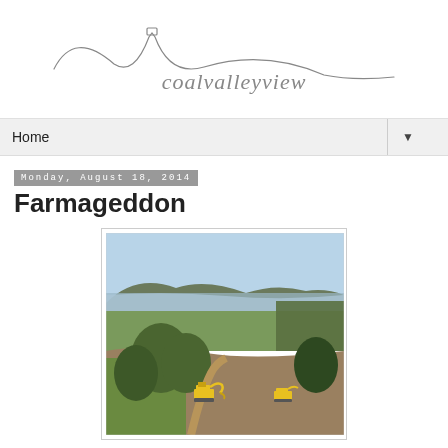[Figure (logo): Coal Valley View blog logo - cursive hand-drawn wire-style text reading 'coalvalleyview' with a curved wire/hill shape above it]
Home ▼
Monday, August 18, 2014
Farmageddon
[Figure (photo): Landscape photo of a rural valley with mountains in the background, a lake or river, green fields, trees, and two yellow excavators/construction machinery in the foreground clearing land]